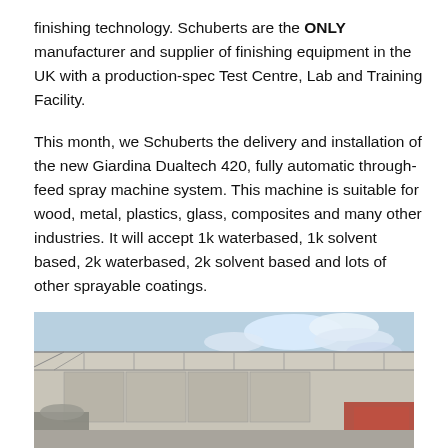finishing technology. Schuberts are the ONLY manufacturer and supplier of finishing equipment in the UK with a production-spec Test Centre, Lab and Training Facility.
This month, we Schuberts the delivery and installation of the new Giardina Dualtech 420, fully automatic through-feed spray machine system. This machine is suitable for wood, metal, plastics, glass, composites and many other industries. It will accept 1k waterbased, 1k solvent based, 2k waterbased, 2k solvent based and lots of other sprayable coatings.
[Figure (photo): Exterior photo of an industrial building with a canopy/loading bay structure, showing a large warehouse or factory with steel frame canopy, blue sky with clouds visible. Some equipment or machinery visible in foreground.]